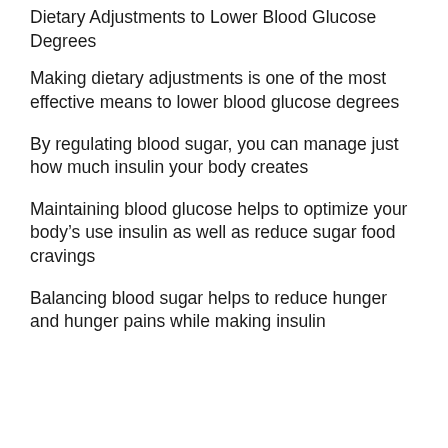Dietary Adjustments to Lower Blood Glucose Degrees
Making dietary adjustments is one of the most effective means to lower blood glucose degrees
By regulating blood sugar, you can manage just how much insulin your body creates
Maintaining blood glucose helps to optimize your body’s use insulin as well as reduce sugar food cravings
Balancing blood sugar helps to reduce hunger and hunger pains while making insulin